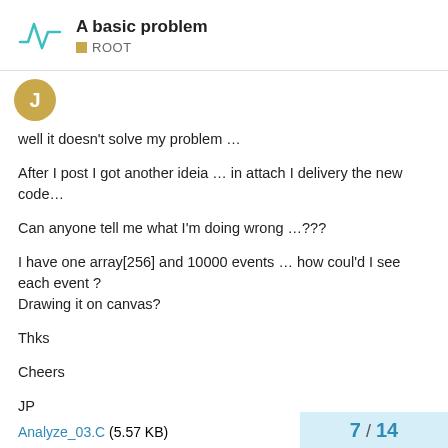A basic problem | ROOT
[Figure (logo): ROOT forum logo with checkmark/square root symbol in teal]
well it doesn't solve my problem …
After I post I got another ideia … in attach I delivery the new code…
Can anyone tell me what I'm doing wrong …???
I have one array[256] and 10000 events … how coul'd I see each event ?
Drawing it on canvas?
Thks
Cheers
JP
Analyze_03.C (5.57 KB)
7 / 14